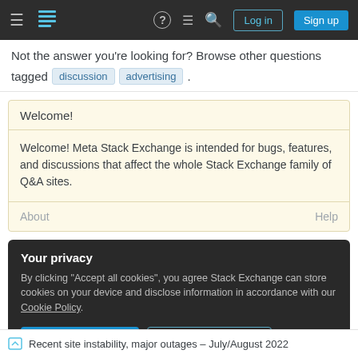Navigation bar with hamburger menu, Stack Exchange logo, help, chat, search icons, Log in and Sign up buttons
Not the answer you're looking for? Browse other questions tagged discussion advertising .
Welcome!
Welcome! Meta Stack Exchange is intended for bugs, features, and discussions that affect the whole Stack Exchange family of Q&A sites.
About    Help
Your privacy
By clicking "Accept all cookies", you agree Stack Exchange can store cookies on your device and disclose information in accordance with our Cookie Policy.
Accept all cookies   Customize settings
Recent site instability, major outages – July/August 2022